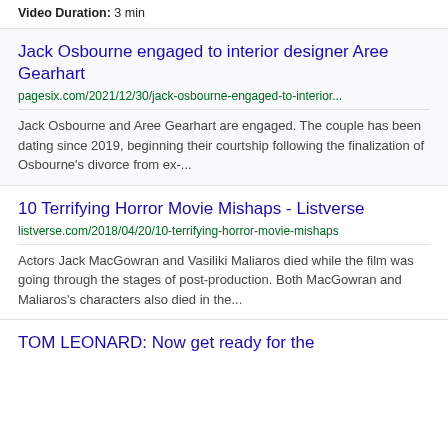Video Duration: 3 min
Jack Osbourne engaged to interior designer Aree Gearhart
pagesix.com/2021/12/30/jack-osbourne-engaged-to-interior...
Jack Osbourne and Aree Gearhart are engaged. The couple has been dating since 2019, beginning their courtship following the finalization of Osbourne's divorce from ex-...
10 Terrifying Horror Movie Mishaps - Listverse
listverse.com/2018/04/20/10-terrifying-horror-movie-mishaps
Actors Jack MacGowran and Vasiliki Maliaros died while the film was going through the stages of post-production. Both MacGowran and Maliaros's characters also died in the...
TOM LEONARD: Now get ready for the